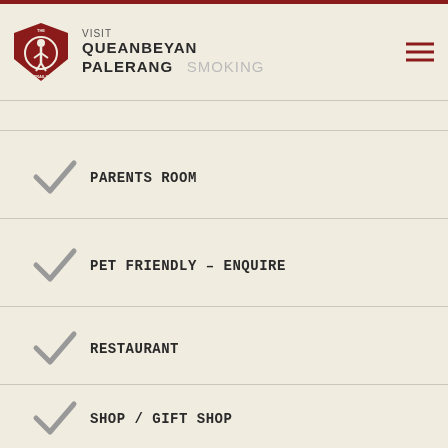VISIT QUEANBEYAN PALERANG — NO SMOKING
PARENTS ROOM
PET FRIENDLY – ENQUIRE
RESTAURANT
SHOP / GIFT SHOP
FREE WIFI
CATERS FOR PEOPLE WITH SUFFICIENT MOBILITY TO